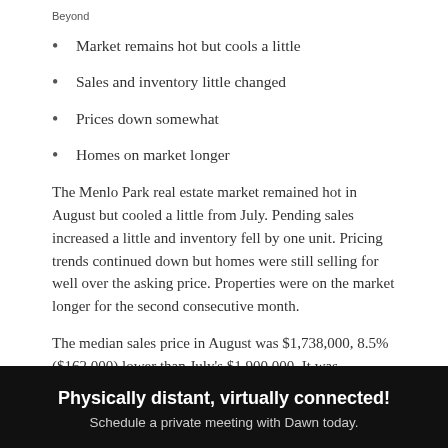Beyond
Market remains hot but cools a little
Sales and inventory little changed
Prices down somewhat
Homes on market longer
The Menlo Park real estate market remained hot in August but cooled a little from July. Pending sales increased a little and inventory fell by one unit. Pricing trends continued down but homes were still selling for well over the asking price. Properties were on the market longer for the second consecutive month.
The median sales price in August was $1,738,000, 8.5% ($162,000) lower than July's $1,900,000. It was $278,000 or 19% higher than a year ago when the median price was $1,460,000. The average price per square foot also fell, fr... e... a... little stronger than a year or so the median year $...
Physically distant, virtually connected! Schedule a private meeting with Dawn today.